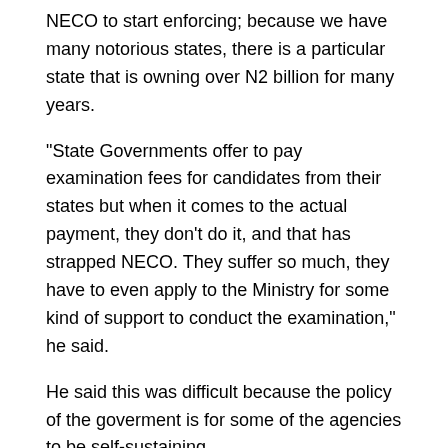NECO to start enforcing; because we have many notorious states, there is a particular state that is owning over N2 billion for many years.
“State Governments offer to pay examination fees for candidates from their states but when it comes to the actual payment, they don’t do it, and that has strapped NECO. They suffer so much, they have to even apply to the Ministry for some kind of support to conduct the examination,” he said.
He said this was difficult because the policy of the goverment is for some of the agencies to be self-sustaining.
ALSO READ:  Kano: Private schools to choose between 30% of fees or cancelled term
Echono, commended NECO for the smooth conduct of the